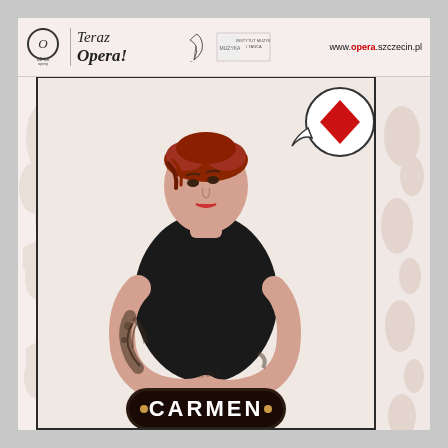[Figure (illustration): Opera poster for Carmen by G. Bizet. A tattooed woman with red braided hair wearing a black bodysuit holds a dark oval sign reading 'CARMEN' in white bold letters. Background has ornamental floral patterns. Top header shows the Teraz Opera! logo, sponsor logos, and website www.opera.szczecin.pl. A red diamond playing card symbol is in upper right area.]
CARMEN
G. Bizet
Teraz Opera!
www.opera.szczecin.pl